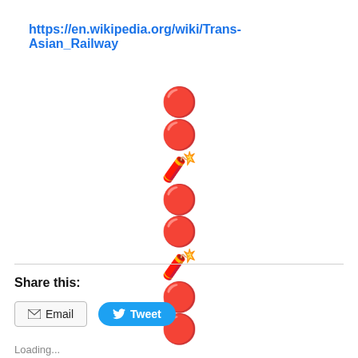https://en.wikipedia.org/wiki/Trans-Asian_Railway
[Figure (illustration): A vertical column of emoji icons: two red bomb emojis, one firecracker emoji, two red bomb emojis, one firecracker emoji, two red bomb emojis — arranged top to bottom in the center of the page.]
Share this:
Email  Tweet
Loading...